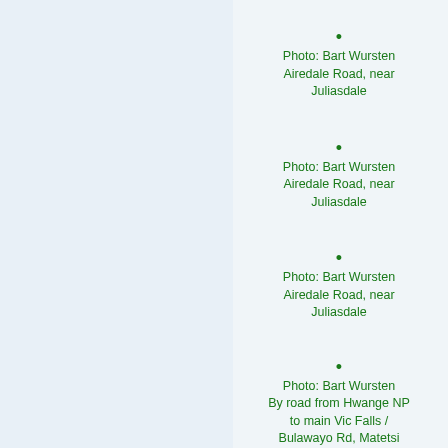•
Photo: Bart Wursten
Airedale Road, near Juliasdale
•
Photo: Bart Wursten
Airedale Road, near Juliasdale
•
Photo: Bart Wursten
Airedale Road, near Juliasdale
•
Photo: Bart Wursten
By road from Hwange NP to main Vic Falls / Bulawayo Rd, Matetsi Safari Area
•
Photo: Bart Wursten
By road from Hwange NP